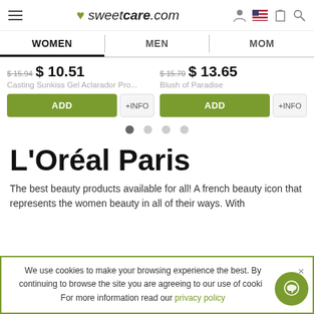sweetcare.com — header navigation with WOMEN, MEN, MOM tabs
$ 15.94  $ 10.51 — Casting Sunkiss Gel Aclarador Pro...   $ 15.70  $ 13.65 — Blush of Paradise
ADD +INFO  ADD +INFO
L'Oréal Paris
The best beauty products available for all! A french beauty icon that represents the women beauty in all of their ways. With
We use cookies to make your browsing experience the best. By continuing to browse the site you are agreeing to our use of cookies. For more information read our privacy policy